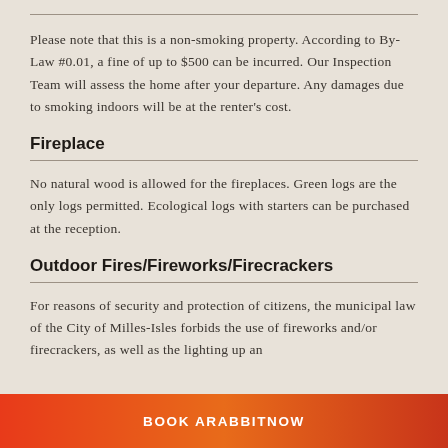Please note that this is a non-smoking property. According to By-Law #0.01, a fine of up to $500 can be incurred. Our Inspection Team will assess the home after your departure. Any damages due to smoking indoors will be at the renter's cost.
Fireplace
No natural wood is allowed for the fireplaces. Green logs are the only logs permitted. Ecological logs with starters can be purchased at the reception.
Outdoor Fires/Fireworks/Firecrackers
For reasons of security and protection of citizens, the municipal law of the City of Milles-Isles forbids the use of fireworks and/or firecrackers, as well as the lighting up an
BOOK ARABBITNOW